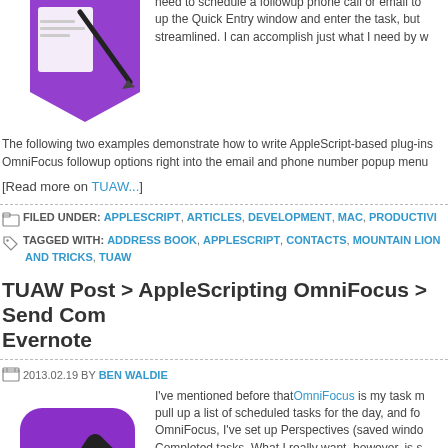[Figure (illustration): Purple OmniFocus app icon with paper and pen, top left corner, partially cut off]
need to schedule a followup phone call or email to up the Quick Entry window and enter the task, but streamlined. I can accomplish just what I need by w
The following two examples demonstrate how to write AppleScript-based plug-ins OmniFocus followup options right into the email and phone number popup menu
[Read more on TUAW...]
FILED UNDER: APPLESCRIPT, ARTICLES, DEVELOPMENT, MAC, PRODUCTIVI
TAGGED WITH: ADDRESS BOOK, APPLESCRIPT, CONTACTS, MOUNTAIN LION AND TRICKS, TUAW
TUAW Post > AppleScripting OmniFocus > Send Com Evernote
2013.02.19 BY BEN WALDIE
[Figure (illustration): Purple OmniFocus app icon with checkmark, bottom left]
I've mentioned before that OmniFocus is my task m pull up a list of scheduled tasks for the day, and fo OmniFocus, I've set up Perspectives (saved windo Completed tasks. What I really want, however, is s completed tasks and summarize them in Evernote. This way, I can maintain a historical log of my pro